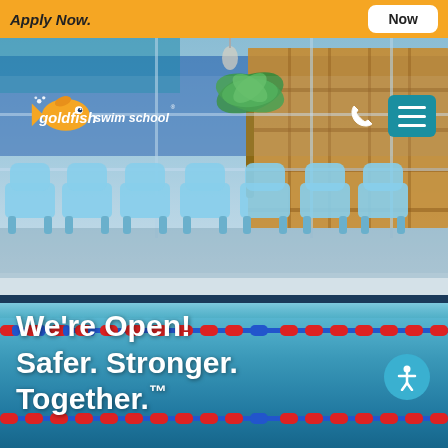Apply Now.   Now
[Figure (photo): Goldfish Swim School website screenshot showing interior pool area with light blue plastic chairs along poolside, a palm tree decoration, and an indoor swimming pool with lane dividers in red and blue. Header shows Goldfish Swim School logo and navigation with teal hamburger menu.]
We're Open! Safer. Stronger. Together.™